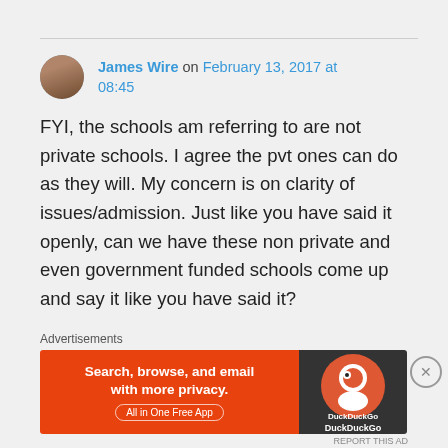James Wire on February 13, 2017 at 08:45
FYI, the schools am referring to are not private schools. I agree the pvt ones can do as they will. My concern is on clarity of issues/admission. Just like you have said it openly, can we have these non private and even government funded schools come up and say it like you have said it?
Advertisements
[Figure (other): DuckDuckGo advertisement banner: Search, browse, and email with more privacy. All in One Free App. DuckDuckGo logo on dark right side.]